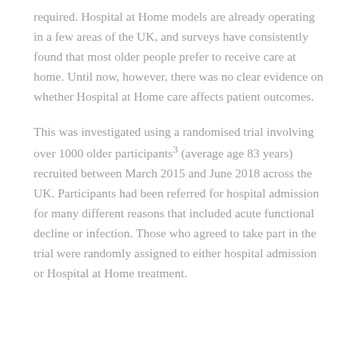required. Hospital at Home models are already operating in a few areas of the UK, and surveys have consistently found that most older people prefer to receive care at home. Until now, however, there was no clear evidence on whether Hospital at Home care affects patient outcomes.
This was investigated using a randomised trial involving over 1000 older participants3 (average age 83 years) recruited between March 2015 and June 2018 across the UK. Participants had been referred for hospital admission for many different reasons that included acute functional decline or infection. Those who agreed to take part in the trial were randomly assigned to either hospital admission or Hospital at Home treatment.